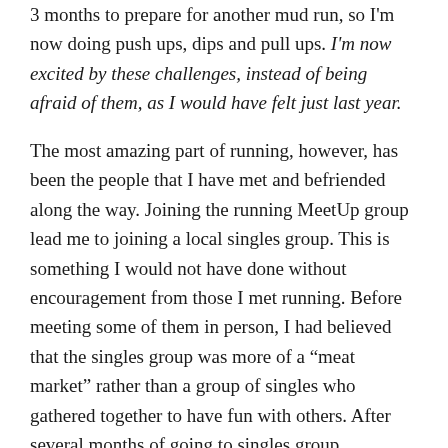3 months to prepare for another mud run, so I'm now doing push ups, dips and pull ups. I'm now excited by these challenges, instead of being afraid of them, as I would have felt just last year.
The most amazing part of running, however, has been the people that I have met and befriended along the way. Joining the running MeetUp group lead me to joining a local singles group. This is something I would not have done without encouragement from those I met running. Before meeting some of them in person, I had believed that the singles group was more of a “meat market” rather than a group of singles who gathered together to have fun with others. After several months of going to singles group MeetUps, I'm now more comfortable in a crowds. In fact, I now test as an extrovert instead of an introvert on the Myers-Briggs test. To me, this is absolutely amazing!